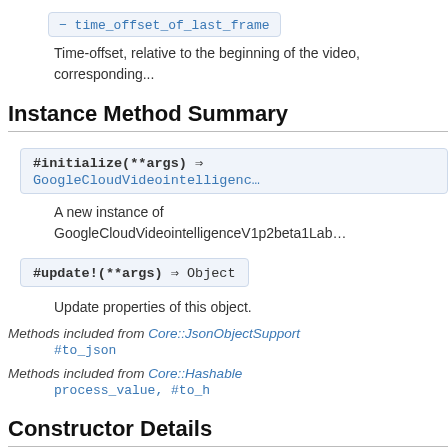Time-offset, relative to the beginning of the video, corresponding...
Instance Method Summary
#initialize(**args) ⇒ GoogleCloudVideointelligenc...
A new instance of GoogleCloudVideointelligenceV1p2beta1Lab...
#update!(**args) ⇒ Object
Update properties of this object.
Methods included from Core::JsonObjectSupport
#to_json
Methods included from Core::Hashable
process_value, #to_h
Constructor Details
#initialize(**args) ⇒ GoogleCloudVideointelligenc...
Returns a new instance of GoogleCloudVideointelligenceV1p2bet...